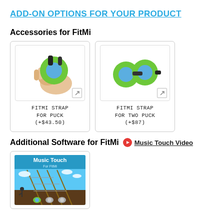ADD-ON OPTIONS FOR YOUR PRODUCT
Accessories for FitMi
[Figure (photo): FitMi Strap for Puck - hand holding a green puck with blue face and black strap]
FITMI STRAP FOR PUCK (+$43.50)
[Figure (photo): FitMi Strap for Two Puck - two green pucks connected with black strap]
FITMI STRAP FOR TWO PUCK (+$87)
Additional Software for FitMi
Music Touch Video
[Figure (photo): Music Touch for FitMi software box art showing a guitar fretboard game scene with UFOs]